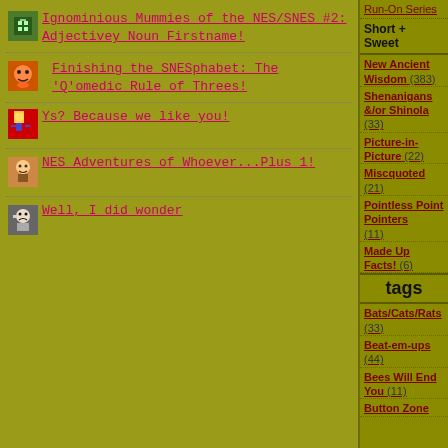Ignominious Mummies of the NES/SNES #2: Adjectivey Noun Firstname!
Finishing the SNESphabet: The 'Q'omedic Rule of Threes!
Ys? Because we like you!
NES Adventures of Whoever...Plus 1!
Well, I did wonder
Run-On Series
Short + Sweet
New Ancient Wisdom (383)
Shenanigans &/or Shinola (33)
Picture-in-Picture (22)
Miscquoted (21)
Pointless Point Pointers (11)
Made Up Facts! (6)
tags
Bats/Cats/Rats (33)
Beat-em-ups (44)
Bees Will End You (11)
Button Zone